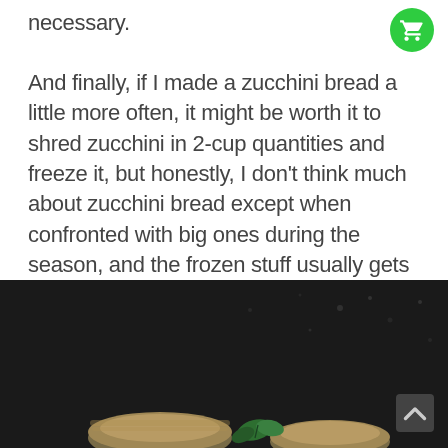necessary.
And finally, if I made a zucchini bread a little more often, it might be worth it to shred zucchini in 2-cup quantities and freeze it, but honestly, I don't think much about zucchini bread except when confronted with big ones during the season, and the frozen stuff usually gets forgotten. (The tip here is: only freeze what you know you'll like to use!)
[Figure (photo): Dark moody food photography showing mason jar lids and green herb sprigs on a dark background, partially cropped at bottom of page]